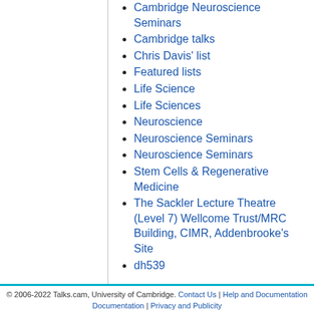Cambridge Neuroscience Seminars
Cambridge talks
Chris Davis' list
Featured lists
Life Science
Life Sciences
Neuroscience
Neuroscience Seminars
Neuroscience Seminars
Stem Cells & Regenerative Medicine
The Sackler Lecture Theatre (Level 7) Wellcome Trust/MRC Building, CIMR, Addenbrooke's Site
dh539
Note that ex-directory lists are not shown.
© 2006-2022 Talks.cam, University of Cambridge. Contact Us | Help and Documentation | Privacy and Publicity